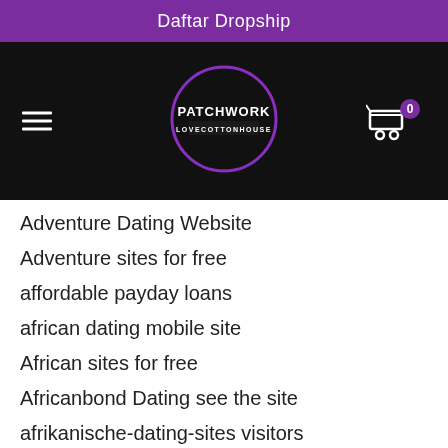Daftar Dropship
[Figure (logo): Patchwork Lovecottonhouse logo: black circle with purple outline, white text PATCHWORK and LOVECOTTONHOUSE]
Adventure Dating Website
Adventure sites for free
affordable payday loans
african dating mobile site
African sites for free
Africanbond Dating see the site
afrikanische-dating-sites visitors
afrointroductions dating